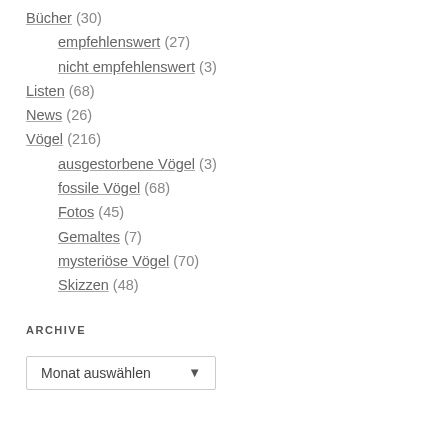Bücher (30)
empfehlenswert (27)
nicht empfehlenswert (3)
Listen (68)
News (26)
Vögel (216)
ausgestorbene Vögel (3)
fossile Vögel (68)
Fotos (45)
Gemaltes (7)
mysteriöse Vögel (70)
Skizzen (48)
ARCHIVE
Monat auswählen